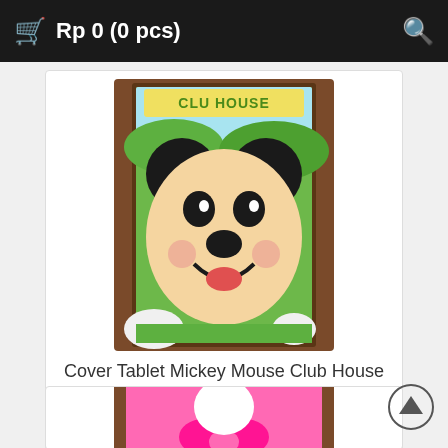🛒 Rp 0 (0 pcs)
[Figure (photo): Photo of a tablet cover with Mickey Mouse Club House design, featuring Mickey Mouse's face on a green background in a brown frame/case]
Cover Tablet Mickey Mouse Club House
Rp 55.000
Kode : 00000002308
[Figure (photo): Partially visible photo of a pink tablet cover with Hello Kitty design]